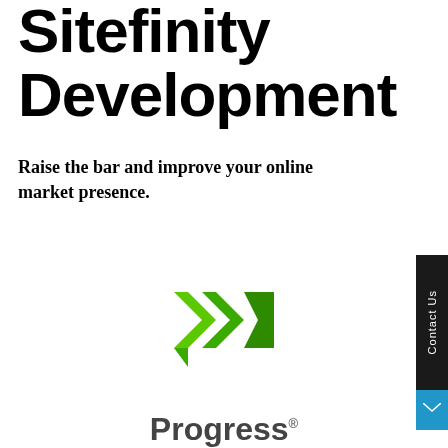Sitefinity Development
Raise the bar and improve your online market presence.
[Figure (logo): Progress Sitefinity logo — green double right-arrow chevron icon above the text 'Progress® Sitefinity™' in dark and light gray]
Contact Us